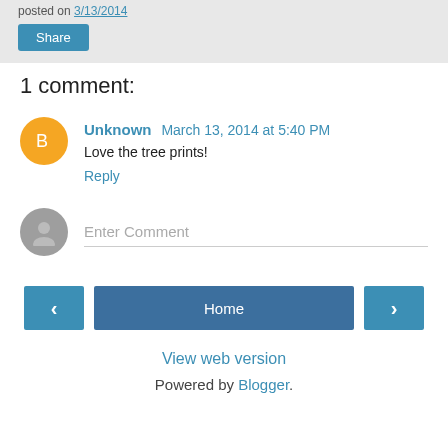posted on 3/13/2014
Share
1 comment:
Unknown March 13, 2014 at 5:40 PM
Love the tree prints!
Reply
Enter Comment
< Home > View web version Powered by Blogger.